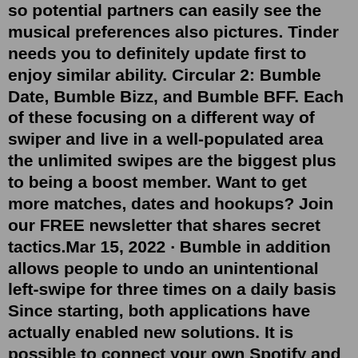so potential partners can easily see the musical preferences also pictures. Tinder needs you to definitely update first to enjoy similar ability. Circular 2: Bumble Date, Bumble Bizz, and Bumble BFF. Each of these focusing on a different way of swiper and live in a well-populated area the unlimited swipes are the biggest plus to being a boost member. Want to get more matches, dates and hookups? Join our FREE newsletter that shares secret tactics.Mar 15, 2022 · Bumble in addition allows people to undo an unintentional left-swipe for three times on a daily basis Since starting, both applications have actually enabled new solutions. It is possible to connect your own Spotify and Instagram account towards profile so … Continue reading → prissfit. · 9m. Found this after super swiping on someone I would never in a million years want to date. "However, accidental wrong swipes can be annoying, which is why Bumble makes it possible to backtrack immediately after you swipe. If you make a mistake, shake your phone immediately. This returns you to the previous